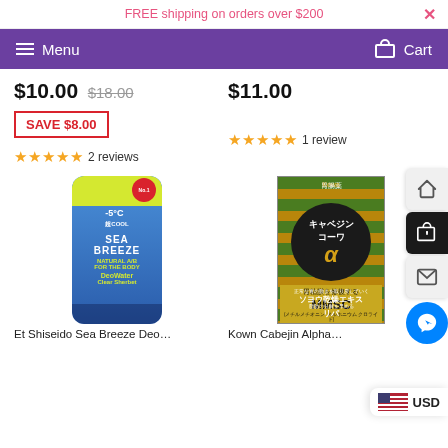FREE shipping on orders over $200
Menu   Cart
$10.00  $18.00
$11.00
SAVE $8.00
★★★★★ 2 reviews
★★★★★ 1 review
[Figure (photo): Sea Breeze -5°C Cool Deo Water spray bottle by Shiseido, blue bottle with yellow top]
[Figure (photo): Kowa Cabejin Alpha stomach medicine box, green and yellow striped with Japanese text and MMSC label]
Ft Shiseido Sea Breeze Deo...
Kown Cabejin Alpha...